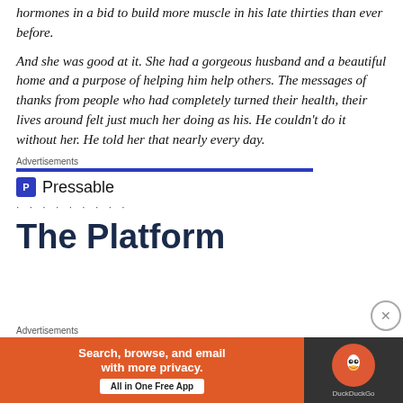hormones in a bid to build more muscle in his late thirties than ever before.
And she was good at it. She had a gorgeous husband and a beautiful home and a purpose of helping him help others. The messages of thanks from people who had completely turned their health, their lives around felt just much her doing as his. He couldn’t do it without her. He told her that nearly every day.
Advertisements
[Figure (logo): Pressable logo with blue bar and dots]
The Platform
Advertisements
[Figure (other): DuckDuckGo advertisement banner: Search, browse, and email with more privacy. All in One Free App. DuckDuckGo.]